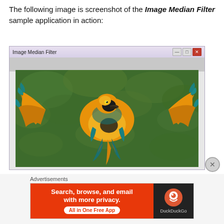The following image is screenshot of the Image Median Filter sample application in action:
[Figure (screenshot): Screenshot of a Windows application titled 'Image Median Filter' showing a blue-and-yellow macaw parrot in flight with wings spread wide, set against a green foliage background. The window has a standard Windows title bar with minimize, maximize, and close buttons.]
Advertisements
[Figure (screenshot): DuckDuckGo advertisement banner: orange background with text 'Search, browse, and email with more privacy. All in One Free App' with DuckDuckGo logo on dark right panel.]